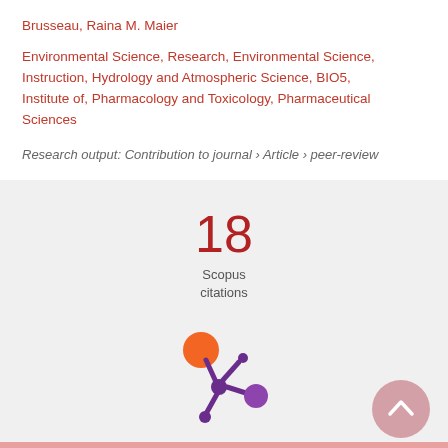Brusseau, Raina M. Maier
Environmental Science, Research, Environmental Science, Instruction, Hydrology and Atmospheric Science, BIO5, Institute of, Pharmacology and Toxicology, Pharmaceutical Sciences
Research output: Contribution to journal › Article › peer-review
18
Scopus citations
[Figure (logo): Altmetric/Plum Analytics snowflake logo with orange and purple circles connected by purple branches]